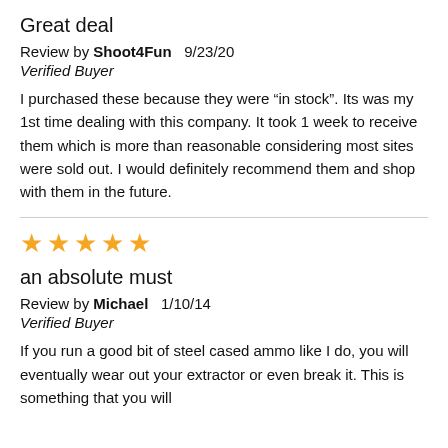Great deal
Review by Shoot4Fun   9/23/20
Verified Buyer
I purchased these because they were “in stock”. Its was my 1st time dealing with this company. It took 1 week to receive them which is more than reasonable considering most sites were sold out. I would definitely recommend them and shop with them in the future.
[Figure (other): 5 gold stars rating]
an absolute must
Review by Michael   1/10/14
Verified Buyer
If you run a good bit of steel cased ammo like I do, you will eventually wear out your extractor or even break it. This is something that you will